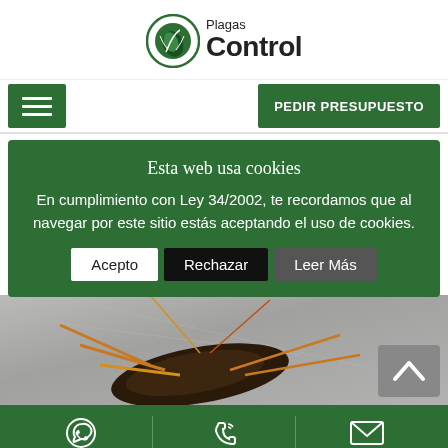[Figure (logo): Plagas Control logo with green circular leaf icon and bold text]
☰   PEDIR PRESUPUESTO
Esta web usa cookies
En cumplimiento con Ley 34/2002, te recordamos que al navegar por este sitio estás aceptando el uso de cookies.
Acepto | Rechazar | Leer Más
[Figure (photo): Close-up photo of a cockroach or insect on metallic surface]
WhatsApp | Phone | Email